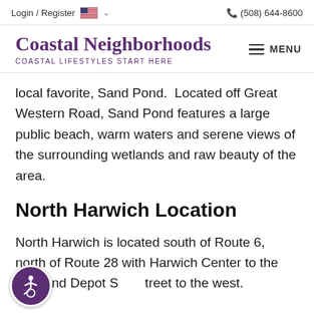Login / Register    🇺🇸 ∨    (508) 644-8600
Coastal Neighborhoods
COASTAL LIFESTYLES START HERE
local favorite, Sand Pond.  Located off Great Western Road, Sand Pond features a large public beach, warm waters and serene views of the surrounding wetlands and raw beauty of the area.
North Harwich Location
North Harwich is located south of Route 6, north of Route 28 with Harwich Center to the east and Depot Street to the west.